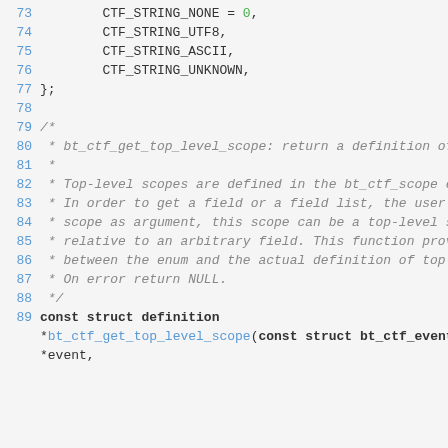[Figure (screenshot): Source code listing lines 73-89 showing C code with enum values CTF_STRING_NONE, CTF_STRING_UTF8, CTF_STRING_ASCII, CTF_STRING_UNKNOWN and a block comment describing bt_ctf_get_top_level_scope function, followed by function declaration.]